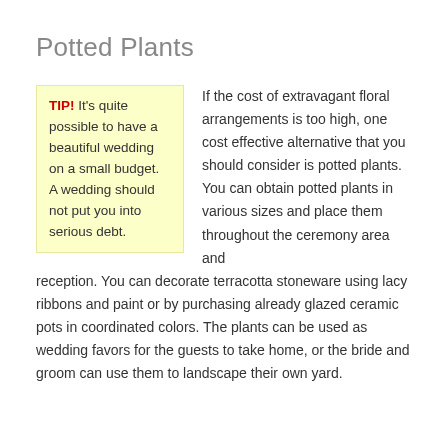Potted Plants
TIP! It's quite possible to have a beautiful wedding on a small budget. A wedding should not put you into serious debt.
If the cost of extravagant floral arrangements is too high, one cost effective alternative that you should consider is potted plants. You can obtain potted plants in various sizes and place them throughout the ceremony area and reception. You can decorate terracotta stoneware using lacy ribbons and paint or by purchasing already glazed ceramic pots in coordinated colors. The plants can be used as wedding favors for the guests to take home, or the bride and groom can use them to landscape their own yard.